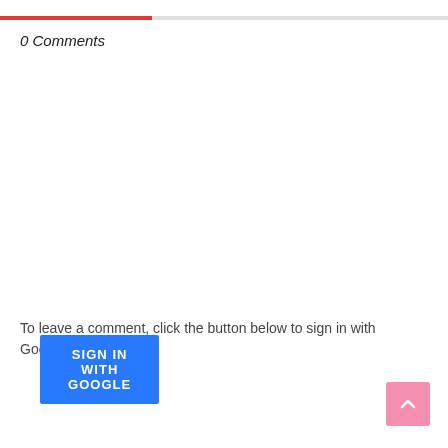0 Comments
To leave a comment, click the button below to sign in with Google.
SIGN IN WITH GOOGLE